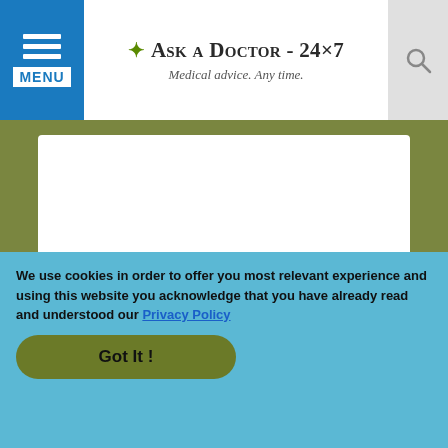Ask a Doctor - 24x7 | Medical advice. Any time.
Enter your email ID to receive answer
Ask a Doctor Now »
By proceeding, I accept the Terms and Conditions
We use cookies in order to offer you most relevant experience and using this website you acknowledge that you have already read and understood our Privacy Policy
Got It !